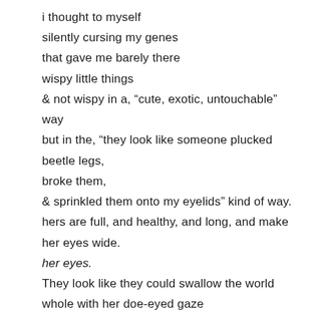i thought to myself
silently cursing my genes
that gave me barely there
wispy little things
& not wispy in a, “cute, exotic, untouchable” way
but in the, “they look like someone plucked beetle legs,
broke them,
& sprinkled them onto my eyelids” kind of way.
hers are full, and healthy, and long, and make her eyes wide.
her eyes.
They look like they could swallow the world whole with her doe-eyed gaze
not slanted